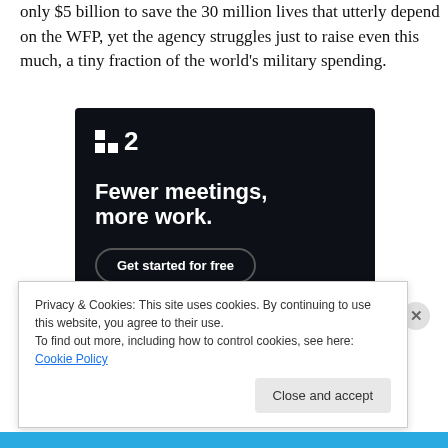only $5 billion to save the 30 million lives that utterly depend on the WFP, yet the agency struggles just to raise even this much, a tiny fraction of the world's military spending.
[Figure (screenshot): Advertisement for a project management tool showing logo with two squares and the number 2, headline 'Fewer meetings, more work.' and a 'Get started for free' button on dark background.]
Privacy & Cookies: This site uses cookies. By continuing to use this website, you agree to their use.
To find out more, including how to control cookies, see here: Cookie Policy